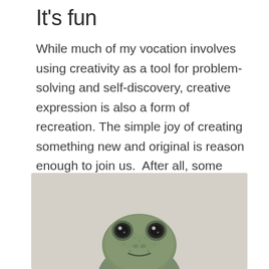It's fun
While much of my vocation involves using creativity as a tool for problem-solving and self-discovery, creative expression is also a form of recreation. The simple joy of creating something new and original is reason enough to join us.  After all, some days are simply meant for playing!
[Figure (photo): A close-up photo of a green stone/ceramic frog figurine looking forward, with a light beige/grey background. The frog has round eyes and a slight smile.]